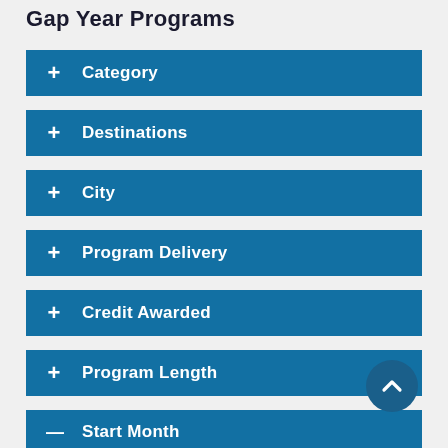Gap Year Programs
+ Category
+ Destinations
+ City
+ Program Delivery
+ Credit Awarded
+ Program Length
— Start Month
January